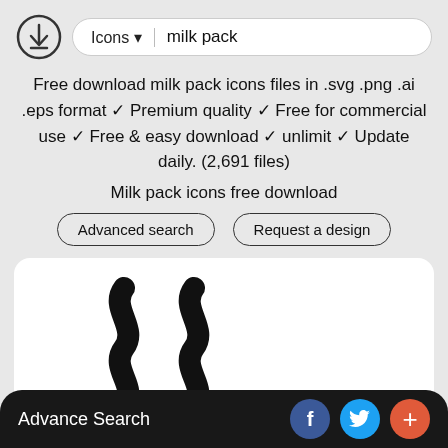[Figure (screenshot): Top navigation bar with download icon, Icons dropdown and milk pack search field]
Free download milk pack icons files in .svg .png .ai .eps format ✓ Premium quality ✓ Free for commercial use ✓ Free & easy download ✓ unlimit ✓ Update daily. (2,691 files)
Milk pack icons free download
Advanced search
Request a design
[Figure (illustration): Two wavy black lines resembling steam or waves, part of a milk pack icon preview]
Page: Stop 1 Go!
Advance Search
[Figure (infographic): Facebook, Twitter and plus social media buttons]